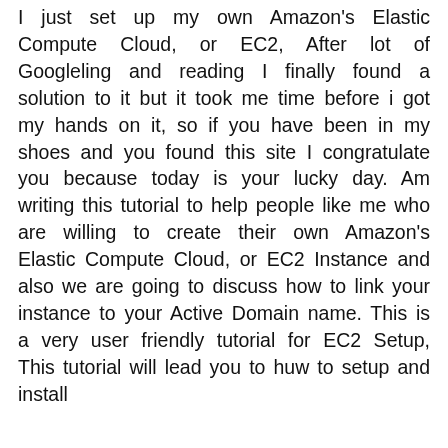I just set up my own Amazon's Elastic Compute Cloud, or EC2, After lot of Googleling and reading I finally found a solution to it but it took me time before i got my hands on it, so if you have been in my shoes and you found this site I congratulate you because today is your lucky day. Am writing this tutorial to help people like me who are willing to create their own Amazon's Elastic Compute Cloud, or EC2 Instance and also we are going to discuss how to link your instance to your Active Domain name. This is a very user friendly tutorial for EC2 Setup, This tutorial will lead you to huw to setup and install